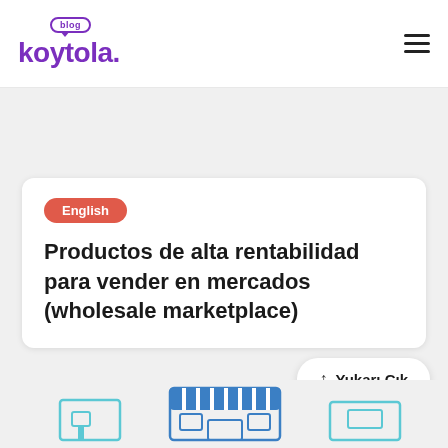blog koytola.
English
Productos de alta rentabilidad para vender en mercados (wholesale marketplace)
↑ Yukarı Çık
[Figure (illustration): Bottom illustration showing store/shop icons in teal and blue colors, partially visible at bottom of page]